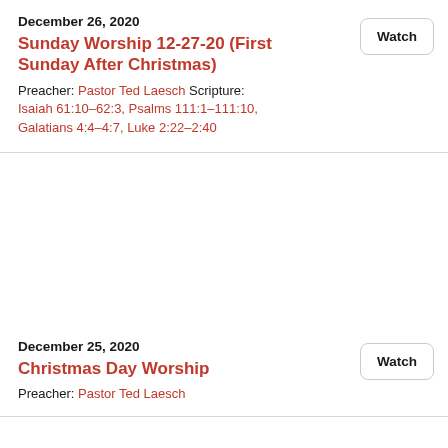December 26, 2020
Sunday Worship 12-27-20 (First Sunday After Christmas)
Preacher: Pastor Ted Laesch Scripture: Isaiah 61:10–62:3, Psalms 111:1–111:10, Galatians 4:4–4:7, Luke 2:22–2:40
Watch
December 25, 2020
Christmas Day Worship
Preacher: Pastor Ted Laesch
Watch
December 24, 2020
Christmas Eve Candlelight Worship
Preacher: Pastor Ted Laesch
Watch